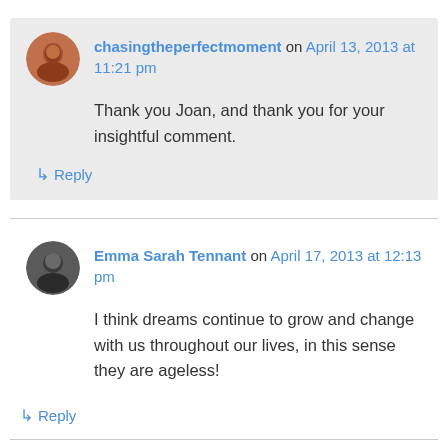chasingtheperfectmoment on April 13, 2013 at 11:21 pm
Thank you Joan, and thank you for your insightful comment.
↳ Reply
Emma Sarah Tennant on April 17, 2013 at 12:13 pm
I think dreams continue to grow and change with us throughout our lives, in this sense they are ageless!
↳ Reply